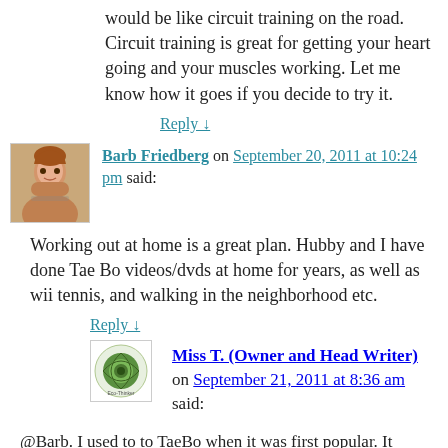would be like circuit training on the road. Circuit training is great for getting your heart going and your muscles working. Let me know how it goes if you decide to try it.
Reply ↓
Barb Friedberg on September 20, 2011 at 10:24 pm said:
Working out at home is a great plan. Hubby and I have done Tae Bo videos/dvds at home for years, as well as wii tennis, and walking in the neighborhood etc.
Reply ↓
Miss T. (Owner and Head Writer) on September 21, 2011 at 8:36 am said:
@Barb. I used to to TaeBo when it was first popular. It definitely got a good sweat going and I remember feeling my butt burn. Tennis hey?! I still haven't played that too much- it is quite the workout.
We also walk. I love the fresh air; it just helps clear my head after a long day or when I am stressed it calms me. Glad to hear you have an active living routine in place